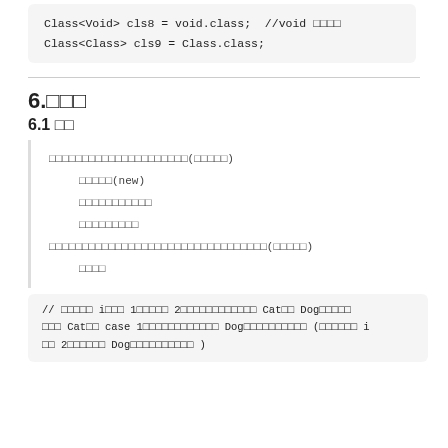Class<Void> cls8 = void.class;  //void クラスオブジェクト
Class<Class> cls9 = Class.class;
6.□□□
6.1 □□
□□□□□□□□□□□□□□□□□□□□□(□□□□□)
    □□□□□(new)
    □□□□□□□□□□□
    □□□□□□□□□
□□□□□□□□□□□□□□□□□□□□□□□□□□□□□□□□□(□□□□□)
    □□□□
// □□□□□ i□□□ 1□□□□□ 2□□□□□□□□□□□□ Cat□□ Dog□□□□□
□□□ Cat□□ case 1□□□□□□□□□□□□□□ Dog□□□□□□□□□□□ (□□□□□ i
□□ 2□□□□□□□ Dog□□□□□□□□□□ )